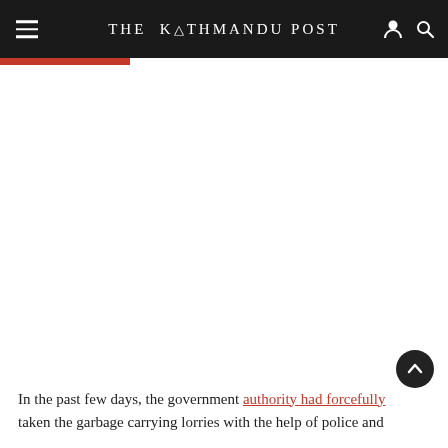THE KATHMANDU POST
In the past few days, the government authority had forcefully taken the garbage carrying lorries with the help of police and